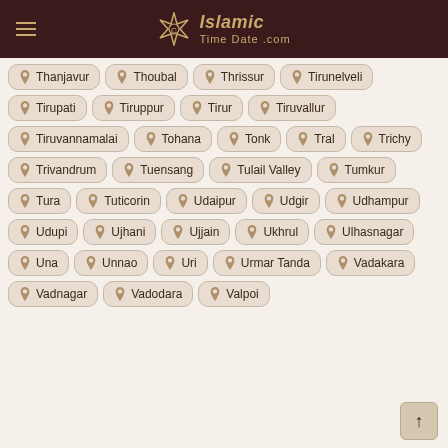Islamic Time Date .com
Thanjavur
Thoubal
Thrissur
Tirunelveli
Tirupati
Tiruppur
Tirur
Tiruvallur
Tiruvannamalai
Tohana
Tonk
Tral
Trichy
Trivandrum
Tuensang
Tulail Valley
Tumkur
Tura
Tuticorin
Udaipur
Udgir
Udhampur
Udupi
Ujhani
Ujjain
Ukhrul
Ulhasnagar
Una
Unnao
Uri
Urmar Tanda
Vadakara
Vadnagar
Vadodara
Valpoi